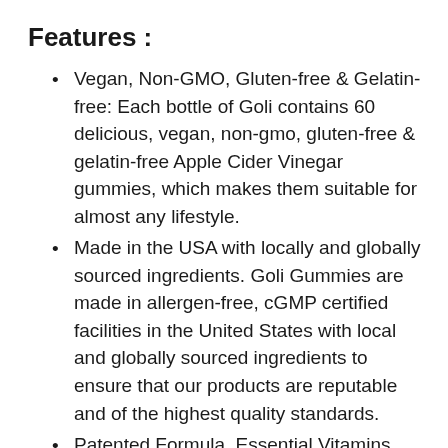Features :
Vegan, Non-GMO, Gluten-free & Gelatin-free: Each bottle of Goli contains 60 delicious, vegan, non-gmo, gluten-free & gelatin-free Apple Cider Vinegar gummies, which makes them suitable for almost any lifestyle.
Made in the USA with locally and globally sourced ingredients. Goli Gummies are made in allergen-free, cGMP certified facilities in the United States with local and globally sourced ingredients to ensure that our products are reputable and of the highest quality standards.
Patented Formula, Essential Vitamins,